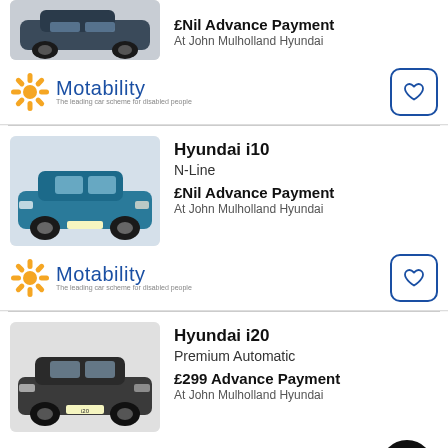[Figure (photo): Partial top card showing a car image (dark hatchback, cropped) with bold text '£Nil Advance Payment' and subtext 'At John Mulholland Hyundai', plus Motability logo and heart button]
£Nil Advance Payment
At John Mulholland Hyundai
[Figure (logo): Motability logo - sunburst icon in gold/yellow with 'Motability' in blue and tagline in grey]
Hyundai i10
N-Line
£Nil Advance Payment
At John Mulholland Hyundai
[Figure (logo): Motability logo - sunburst icon in gold/yellow with 'Motability' in blue and tagline in grey]
Hyundai i20
Premium Automatic
£299 Advance Payment
At John Mulholland Hyundai
[Figure (logo): Motability logo - partial, sunburst icon in gold/yellow with 'Motability' in blue]